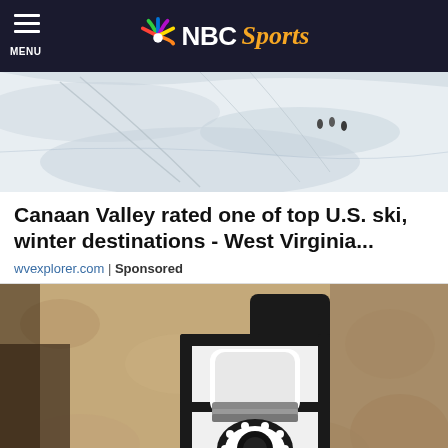NBC Sports
[Figure (photo): Aerial view of snowy ski slope with tiny figures of skiers visible on the white snow]
Canaan Valley rated one of top U.S. ski, winter destinations - West Virginia...
wvexplorer.com | Sponsored
[Figure (photo): Close-up photo of a security camera light bulb installed in a black outdoor wall lantern fixture mounted on a textured stone/stucco wall]